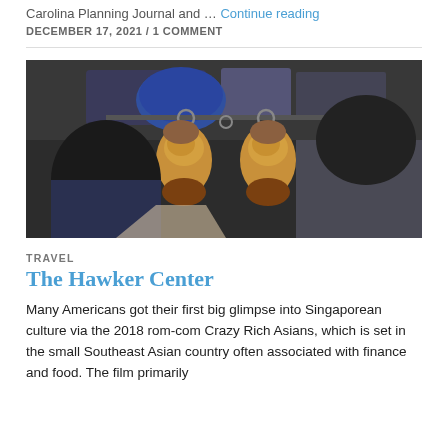Carolina Planning Journal and … Continue reading
DECEMBER 17, 2021 / 1 COMMENT
[Figure (photo): Two people viewed from behind at a market stall, one person holding up two whole roasted/raw chickens on hooks in what appears to be an Asian hawker market kitchen setting.]
TRAVEL
The Hawker Center
Many Americans got their first big glimpse into Singaporean culture via the 2018 rom-com Crazy Rich Asians, which is set in the small Southeast Asian country often associated with finance and food. The film primarily